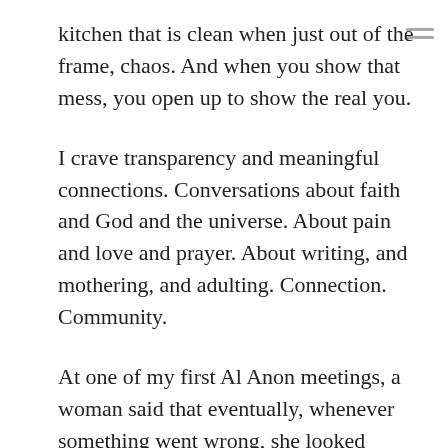kitchen that is clean when just out of the frame, chaos. And when you show that mess, you open up to show the real you.
I crave transparency and meaningful connections. Conversations about faith and God and the universe. About pain and love and prayer. About writing, and mothering, and adulting. Connection. Community.
At one of my first Al Anon meetings, a woman said that eventually, whenever something went wrong, she looked forward to seeing how God would fix it. “Oh goody,” she said. I almost wanted to smack her. Maybe it wasn’t the right thing for her to say to a newcomer whose husband was still using. But I think I understand